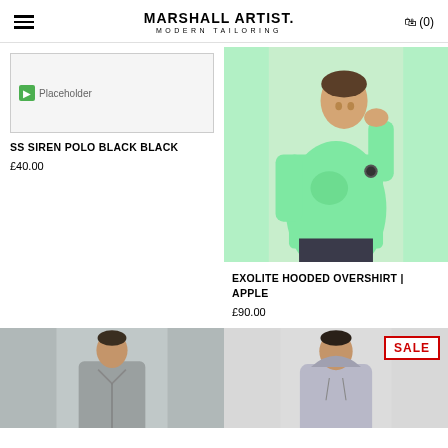MARSHALL ARTIST. MODERN TAILORING ☐(0)
[Figure (photo): Placeholder image for SS Siren Polo Black Black product]
SS SIREN POLO BLACK BLACK
£40.00
[Figure (photo): Man wearing a mint/apple green hooded overshirt, light grey background]
EXOLITE HOODED OVERSHIRT | APPLE
£90.00
[Figure (photo): Man wearing grey jacket, cropped at shoulders, grey background]
[Figure (photo): Man wearing light grey hoodie, SALE badge overlay, grey background]